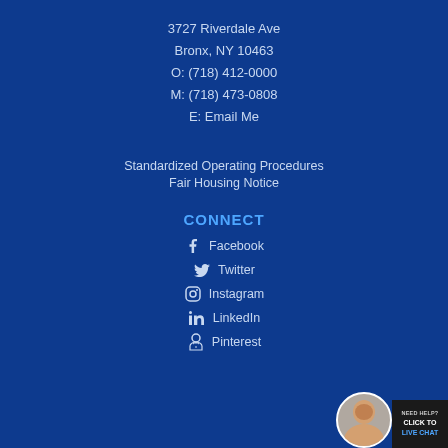3727 Riverdale Ave
Bronx, NY 10463
O: (718) 412-0000
M: (718) 473-0808
E: Email Me
Standardized Operating Procedures
Fair Housing Notice
CONNECT
Facebook
Twitter
Instagram
LinkedIn
Pinterest
[Figure (photo): Avatar photo of a woman and a live chat button in the bottom right corner]